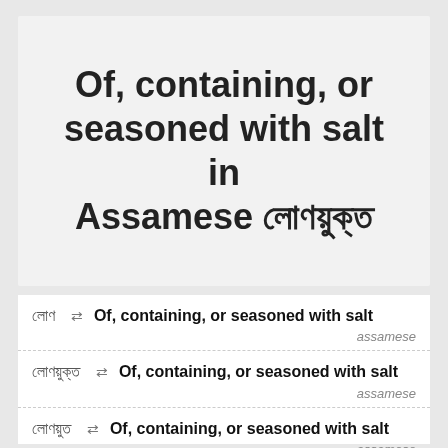Of, containing, or seasoned with salt in Assamese লোণয়ুক্ত
লোণ ⇄ Of, containing, or seasoned with salt — assamese
লোণয়ুক্ত ⇄ Of, containing, or seasoned with salt — assamese
লোণয়ুত ⇄ Of, containing, or seasoned with salt — assamese